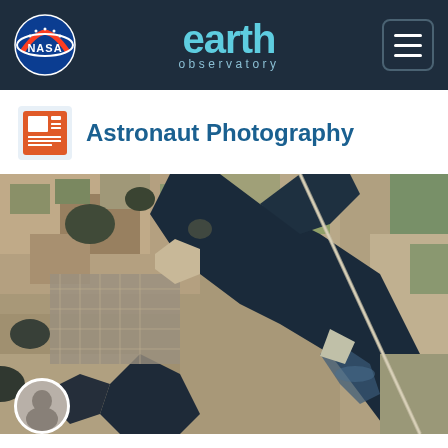NASA Earth Observatory
Astronaut Photography
[Figure (photo): Satellite aerial photograph showing a river delta or confluence with dark blue water body, urban areas, and surrounding agricultural land viewed from space.]